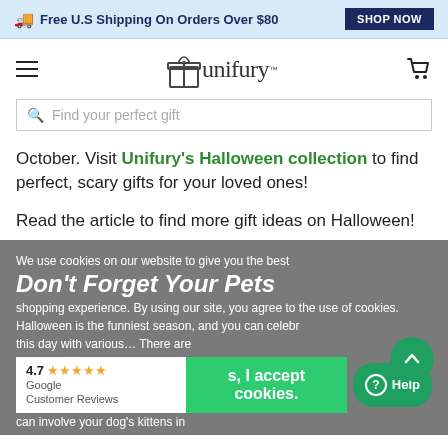Free U.S Shipping On Orders Over $80  SHOP NOW
[Figure (logo): Unifury logo with gift box icon and cart icon, hamburger menu]
Find your perfect gift
October. Visit Unifury's Halloween collection to find perfect, scary gifts for your loved ones!
Read the article to find more gift ideas on Halloween!
We use cookies on our website to give you the best shopping experience. By using our site, you agree to the use of cookies.
Don't Forget Your Pets
Halloween is the funniest season, and you can celebr… There are this day with various… can join… can involve your dog's kittens in
4.7 ★★★★★ Google Customer Reviews
s, I accept cookies.
⑦ Help